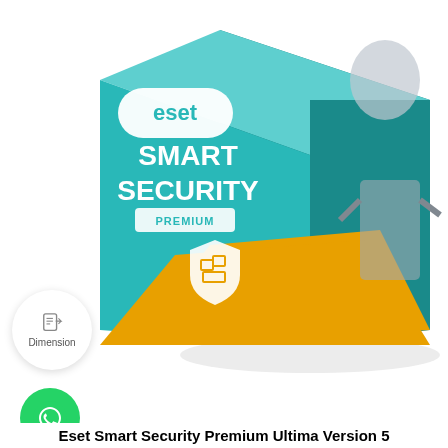[Figure (photo): ESET Smart Security Premium software box, teal and gold/yellow colored packaging with robot face imagery, tilted at an angle on white background]
[Figure (illustration): Small circular white badge with a document icon and the word 'Dimension' below it]
[Figure (illustration): Green circular WhatsApp button with white chat/phone icon]
Eset Smart Security Premium Ultima Version 5